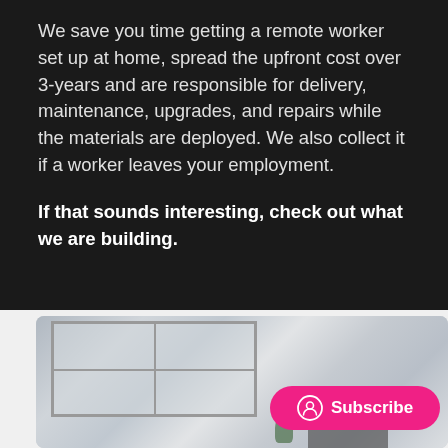We save you time getting a remote worker set up at home, spread the upfront cost over 3-years and are responsible for delivery, maintenance, upgrades, and repairs while the materials are deployed. We also collect it if a worker leaves your employment.
If that sounds interesting, check out what we are building.
[Figure (photo): Photo of a home office desk setup with a blurred background showing a window, a small plant, and a laptop. A pink 'Subscribe' button with a person icon overlays the bottom-right of the image.]